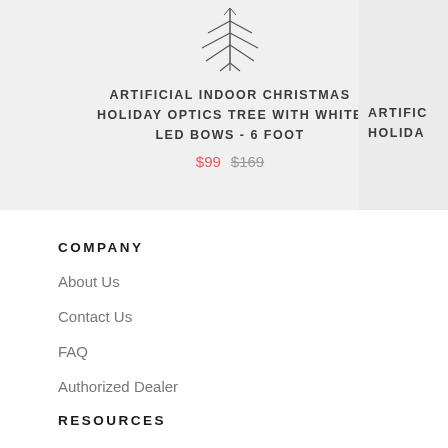[Figure (photo): Product card showing an artificial Christmas tree icon/image, with product title and pricing]
ARTIFICIAL INDOOR CHRISTMAS HOLIDAY OPTICS TREE WITH WHITE LED BOWS - 6 FOOT
$99  $169
COMPANY
About Us
Contact Us
FAQ
Authorized Dealer
RESOURCES